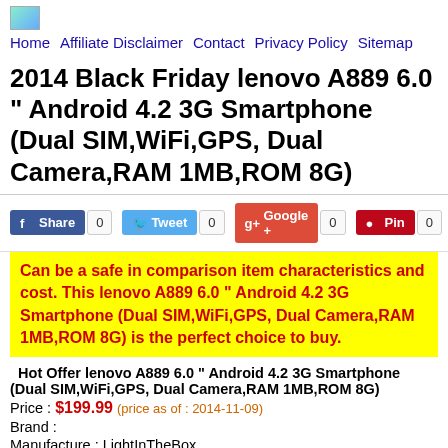Home Affiliate Disclaimer Contact Privacy Policy Sitemap
2014 Black Friday lenovo A889 6.0 " Android 4.2 3G Smartphone (Dual SIM,WiFi,GPS, Dual Camera,RAM 1MB,ROM 8G)
Share 0 Tweet 0 Google + 0 Pin 0
Can be a safe in comparison item characteristics and cost. This lenovo A889 6.0 " Android 4.2 3G Smartphone (Dual SIM,WiFi,GPS, Dual Camera,RAM 1MB,ROM 8G) is the perfect choice to buy.
Hot Offer lenovo A889 6.0 " Android 4.2 3G Smartphone (Dual SIM,WiFi,GPS, Dual Camera,RAM 1MB,ROM 8G)
Price : $199.99 (price as of : 2014-11-09)
Brand :
Manufacture : LightInTheBox